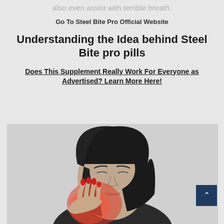also even assist with terrible breath.
Go To Steel Bite Pro Official Website
Understanding the Idea behind Steel Bite pro pills
Does This Supplement Really Work For Everyone as Advertised? Learn More Here!
[Figure (photo): Black and white photo of a young woman with dark hair holding her jaw/cheek in pain, with a red highlighted area indicating tooth or jaw pain.]